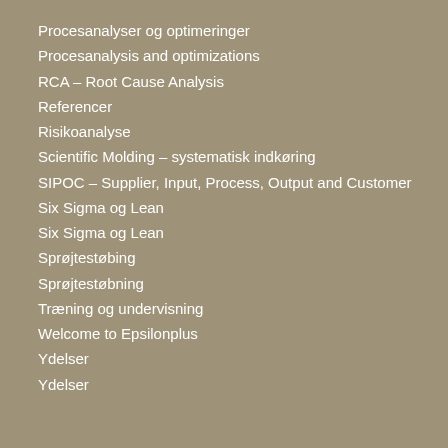Procesanalyser og optimeringer
Procesanalysis and optimizations
RCA – Root Cause Analysis
Referencer
Risikoanalyse
Scientific Molding – systematisk indkøring
SIPOC – Supplier, Input, Process, Output and Customer
Six Sigma og Lean
Six Sigma og Lean
Sprøjtestøbing
Sprøjtestøbning
Træning og undervisning
Welcome to Epsilonplus
Ydelser
Ydelser